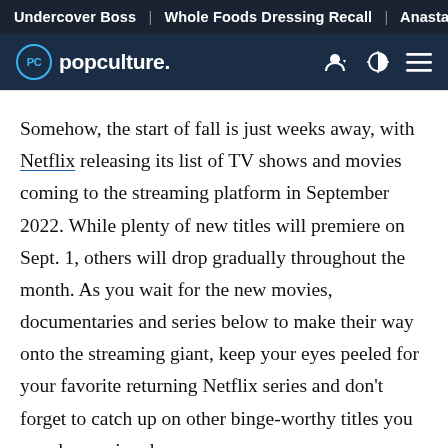Undercover Boss | Whole Foods Dressing Recall | Anastasia
[Figure (logo): Popculture.com logo with navigation icons]
Somehow, the start of fall is just weeks away, with Netflix releasing its list of TV shows and movies coming to the streaming platform in September 2022. While plenty of new titles will premiere on Sept. 1, others will drop gradually throughout the month. As you wait for the new movies, documentaries and series below to make their way onto the streaming giant, keep your eyes peeled for your favorite returning Netflix series and don't forget to catch up on other binge-worthy titles you may have missed.
Scroll on to find out all the new shows and...